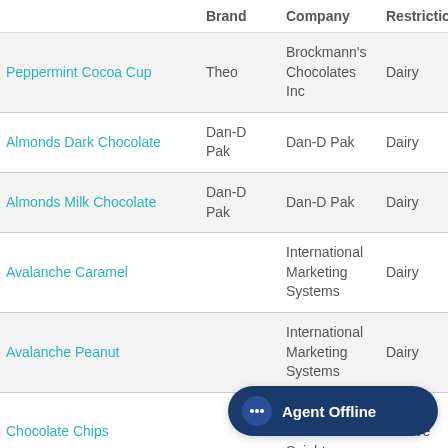|  | Brand | Company | Restriction |
| --- | --- | --- | --- |
| Peppermint Cocoa Cup | Theo | Brockmann's Chocolates Inc | Dairy |
| Almonds Dark Chocolate | Dan-D Pak | Dan-D Pak | Dairy |
| Almonds Milk Chocolate | Dan-D Pak | Dan-D Pak | Dairy |
| Avalanche Caramel |  | International Marketing Systems | Dairy |
| Avalanche Peanut |  | International Marketing Systems | Dairy |
| Chocolate Chips |  | CV Mente Bali Sejahtera. | Pareve |
| Chocolate Premium Powder |  | Efcon Inc | Dairy |
| Cocoa Powder |  | Sa... LTD... |  |